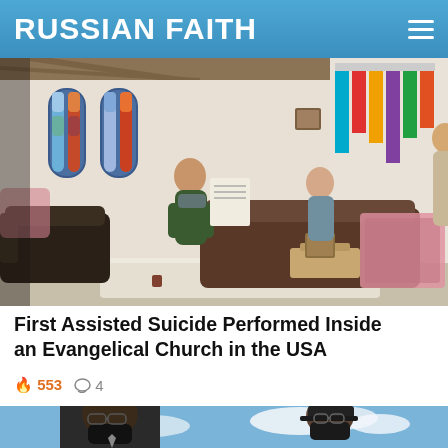RUSSIAN FAITH
[Figure (photo): Interior of a church-like room with stained glass windows. Four people are gathered: one woman holding up a document, a seated elderly woman, and two standing women, one handing something to the other. Sofas, a lamp, and a small table with a photo frame are visible.]
First Assisted Suicide Performed Inside an Evangelical Church in the USA
🔥 553   💬 4
[Figure (photo): Two people wearing black face masks outdoors against a blue sky with clouds. One person is in a suit and tie, the other is wearing a cap and glasses.]